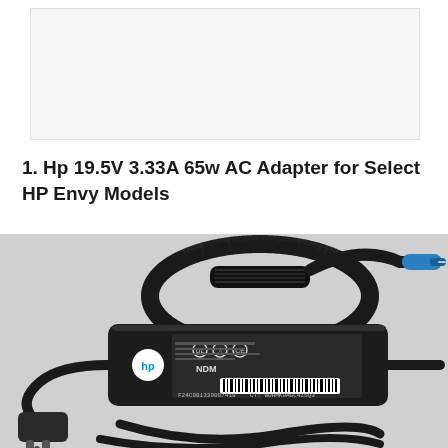[Figure (photo): White/light gray rectangular image placeholder box at the top of the page]
1. Hp 19.5V 3.33A 65w AC Adapter for Select HP Envy Models
[Figure (photo): Product photo of an HP 65W AC power adapter with black brick body showing HP logo and label with text F24C081330007419 and CT: WDHMK0AGC4Z5Q3, blue-tipped output connector cable wrapped with velcro strap, and a two-prong US power plug on the input cable.]